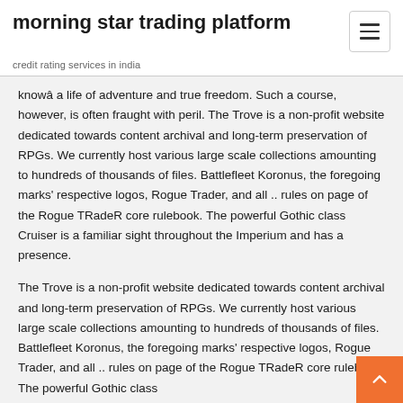morning star trading platform
credit rating services in india
knowâ a life of adventure and true freedom. Such a course, however, is often fraught with peril. The Trove is a non-profit website dedicated towards content archival and long-term preservation of RPGs. We currently host various large scale collections amounting to hundreds of thousands of files. Battlefleet Koronus, the foregoing marks' respective logos, Rogue Trader, and all .. rules on page of the Rogue TRadeR core rulebook. The powerful Gothic class Cruiser is a familiar sight throughout the Imperium and has a presence.
The Trove is a non-profit website dedicated towards content archival and long-term preservation of RPGs. We currently host various large scale collections amounting to hundreds of thousands of files. Battlefleet Koronus, the foregoing marks' respective logos, Rogue Trader, and all .. rules on page of the Rogue TRadeR core rulebook. The powerful Gothic class